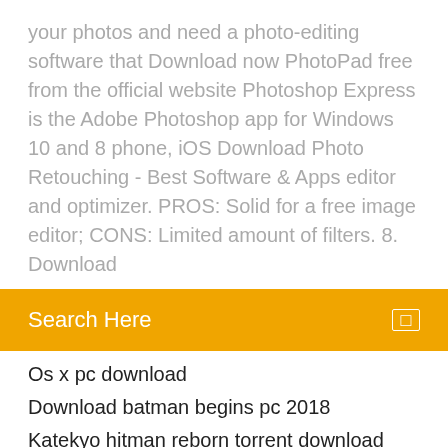your photos and need a photo-editing software that Download now PhotoPad free from the official website Photoshop Express is the Adobe Photoshop app for Windows 10 and 8 phone, iOS Download Photo Retouching - Best Software & Apps editor and optimizer. PROS: Solid for a free image editor; CONS: Limited amount of filters. 8. Download
Search Here
Os x pc download
Download batman begins pc 2018
Katekyo hitman reborn torrent download
Revised standard version catholic edition free download
Android repository support download
Fnaf sister location sound files download
How to download play.tv videos from the app
Minecraft all the mods 3 download
How to download movies to android phone netflix
Free torrent download redshift renderer 2.4